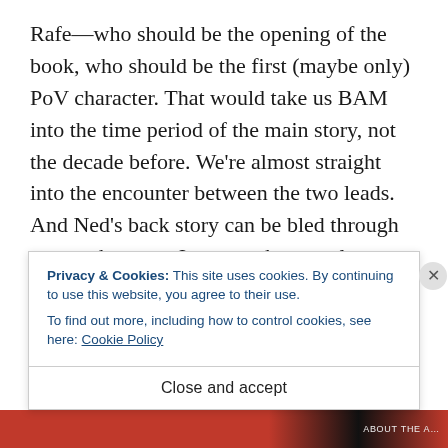Rafe—who should be the opening of the book, who should be the first (maybe only) PoV character. That would take us BAM into the time period of the main story, not the decade before. We're almost straight into the encounter between the two leads. And Ned's back story can be bled through some other way. I can maybe recycle some of Ned stuff in chapter 2 or 3, after they meet, because that won't be too late to i … s …
Privacy & Cookies: This site uses cookies. By continuing to use this website, you agree to their use.
To find out more, including how to control cookies, see here: Cookie Policy
Close and accept